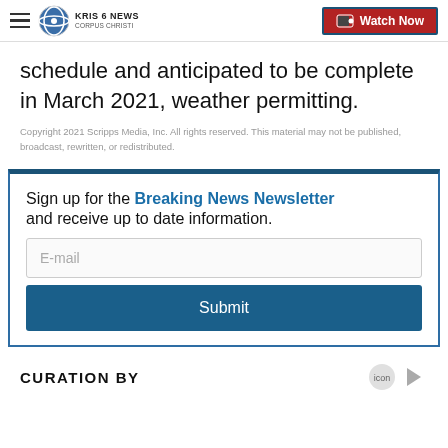KRIS 6 NEWS CORPUS CHRISTI | Watch Now
schedule and anticipated to be complete in March 2021, weather permitting.
Copyright 2021 Scripps Media, Inc. All rights reserved. This material may not be published, broadcast, rewritten, or redistributed.
Sign up for the Breaking News Newsletter and receive up to date information. [E-mail input] [Submit button]
CURATION BY